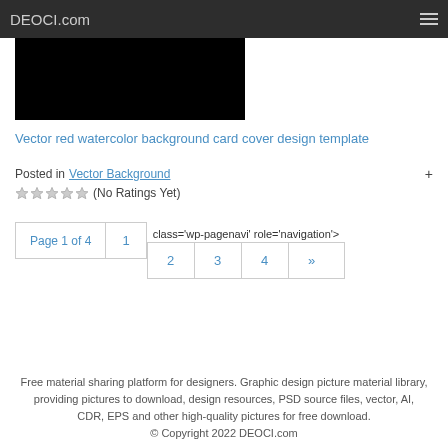DEOCI.com
[Figure (photo): Black image thumbnail of a vector red watercolor background card cover design template]
Vector red watercolor background card cover design template
Posted in Vector Background +
★★★★★ (No Ratings Yet)
Page 1 of 4  1  class='wp-pagenavi' role='navigation'>  2  3  4  »
Free material sharing platform for designers. Graphic design picture material library, providing pictures to download, design resources, PSD source files, vector, AI, CDR, EPS and other high-quality pictures for free download. © Copyright 2022 DEOCI.com